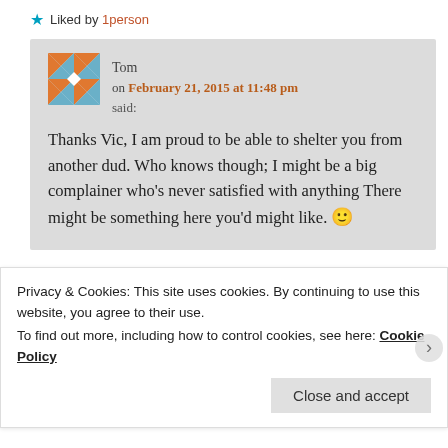Liked by 1 person
Tom on February 21, 2015 at 11:48 pm said:
Thanks Vic, I am proud to be able to shelter you from another dud. Who knows though; I might be a big complainer who's never satisfied with anything There might be something here you'd might like. 🙂
Privacy & Cookies: This site uses cookies. By continuing to use this website, you agree to their use.
To find out more, including how to control cookies, see here: Cookie Policy
Close and accept